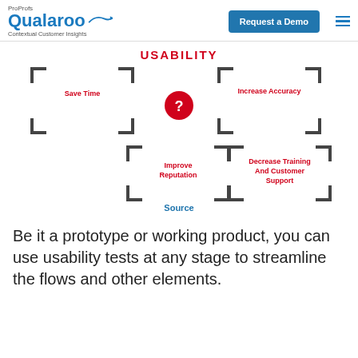ProProfs Qualaroo Contextual Customer Insights
[Figure (infographic): Usability infographic showing four benefits in corner-bracket boxes: Save Time, Increase Accuracy, Improve Reputation, Decrease Training And Customer Support. A red circle with a question mark is in the center. USABILITY label at top. Source link at bottom.]
Be it a prototype or working product, you can use usability tests at any stage to streamline the flows and other elements.